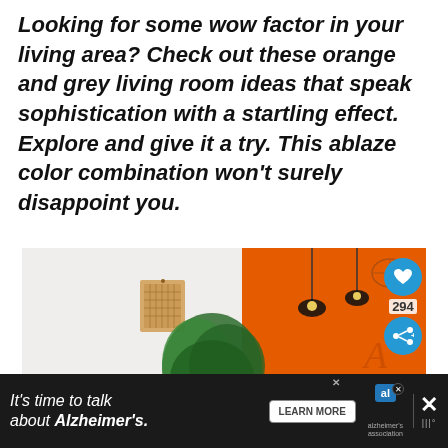Looking for some wow factor in your living area? Check out these orange and grey living room ideas that speak sophistication with a startling effect. Explore and give it a try. This ablaze color combination won't surely disappoint you.
[Figure (photo): Interior living room photo with white wall on the left side, orange accent wall on the right, hanging pendant lights, a potted green plant, dark chairs visible, and a small framed calendar on the white wall. Social media heart (294 likes) and share buttons overlaid on the right edge.]
[Figure (infographic): Advertisement bar at the bottom: dark/black background with italic white text 'It's time to talk about Alzheimer's.' with a LEARN MORE button, Alzheimer's association logo, and close/X button on the right.]